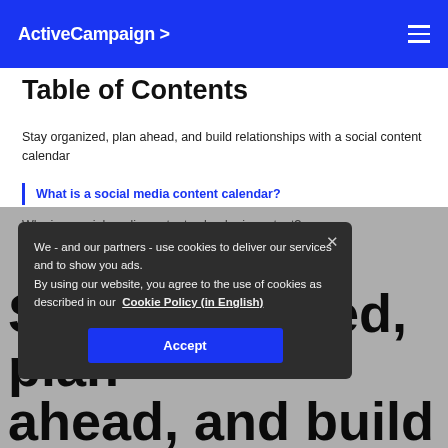ActiveCampaign >
Table of Contents
Stay organized, plan ahead, and build relationships with a social content calendar
What is a social media content calendar?
Why is a social media content calendar important?
H...
H...
[Figure (screenshot): Cookie consent modal with dark background overlay. Text reads: 'We - and our partners - use cookies to deliver our services and to show you ads. By using our website, you agree to the use of cookies as described in our Cookie Policy (in English)'. Blue Accept button at bottom.]
Stay organized, plan ahead, and build